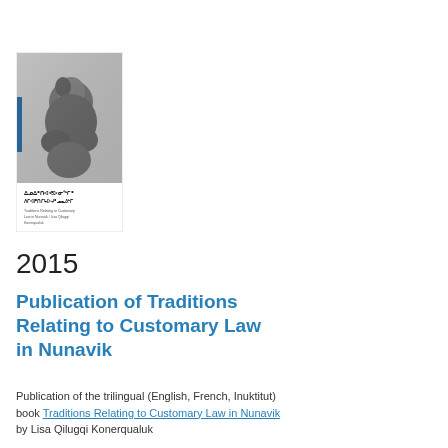[Figure (photo): Book cover of a trilingual publication on Traditions Relating to Customary Law in Nunavik, featuring a dark sculpture of an Inuit figure on a white and grey cover with a blue spine bar and Inuktitut script title text.]
2015
Publication of Traditions Relating to Customary Law in Nunavik
Publication of the trilingual (English, French, Inuktitut) book Traditions Relating to Customary Law in Nunavik by Lisa Qilugqi Konerqualuk